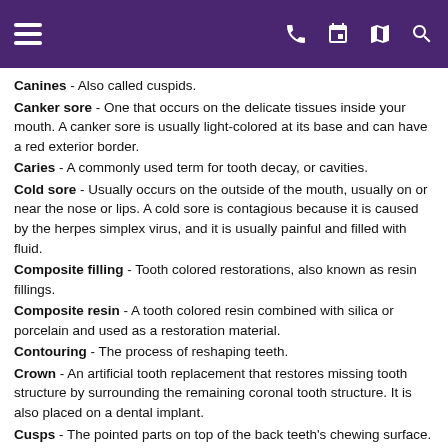Navigation header with menu, phone, calendar, map, and search icons
Canines - Also called cuspids.
Canker sore - One that occurs on the delicate tissues inside your mouth. A canker sore is usually light-colored at its base and can have a red exterior border.
Caries - A commonly used term for tooth decay, or cavities.
Cold sore - Usually occurs on the outside of the mouth, usually on or near the nose or lips. A cold sore is contagious because it is caused by the herpes simplex virus, and it is usually painful and filled with fluid.
Composite filling - Tooth colored restorations, also known as resin fillings.
Composite resin - A tooth colored resin combined with silica or porcelain and used as a restoration material.
Contouring - The process of reshaping teeth.
Crown - An artificial tooth replacement that restores missing tooth structure by surrounding the remaining coronal tooth structure. It is also placed on a dental implant.
Cusps - The pointed parts on top of the back teeth's chewing surface.
Cuspids - Front teeth that typically have a protruding edge.